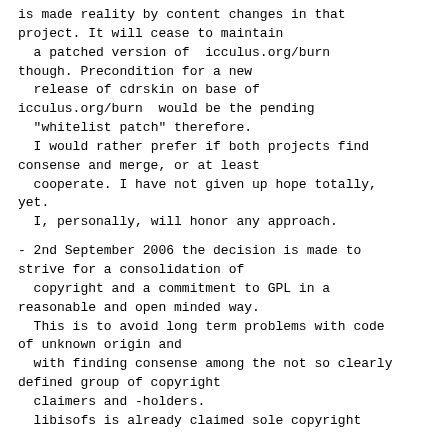is made reality by content changes in that project. It will cease to maintain
  a patched version of  icculus.org/burn
though. Precondition for a new
  release of cdrskin on base of
icculus.org/burn  would be the pending
  "whitelist patch" therefore.
  I would rather prefer if both projects find
consense and merge, or at least
  cooperate. I have not given up hope totally,
yet.
  I, personally, will honor any approach.
- 2nd September 2006 the decision is made to
strive for a consolidation of
  copyright and a commitment to GPL in a
reasonable and open minded way.
  This is to avoid long term problems with code
of unknown origin and
  with finding consense among the not so clearly
defined group of copyright
  claimers and -holders.
  libisofs is already claimed sole copyright